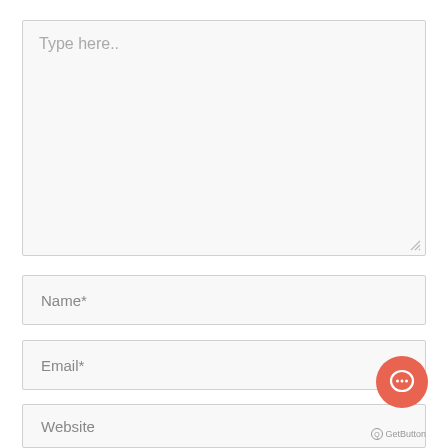[Figure (screenshot): A textarea form field with placeholder text 'Type here..' and a resize handle in the bottom-right corner. Below it are three input fields labeled 'Name*', 'Email*', and 'Website'. An orange/coral circular chat button with a speech bubble icon appears overlapping the Email field, and a 'GetButton' branding label appears at the bottom right.]